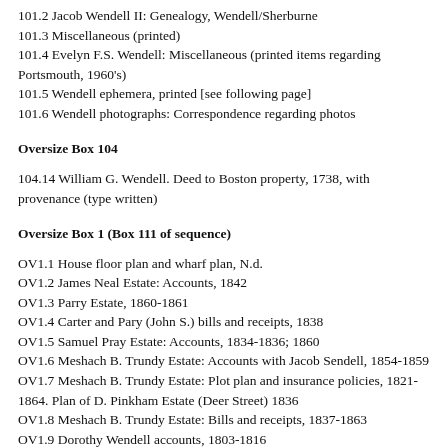101.2 Jacob Wendell II: Genealogy, Wendell/Sherburne
101.3 Miscellaneous (printed)
101.4 Evelyn F.S. Wendell: Miscellaneous (printed items regarding Portsmouth, 1960's)
101.5 Wendell ephemera, printed [see following page]
101.6 Wendell photographs: Correspondence regarding photos
Oversize Box 104
104.14 William G. Wendell. Deed to Boston property, 1738, with provenance (type written)
Oversize Box 1 (Box 111 of sequence)
OV1.1 House floor plan and wharf plan, N.d.
OV1.2 James Neal Estate: Accounts, 1842
OV1.3 Parry Estate, 1860-1861
OV1.4 Carter and Pary (John S.) bills and receipts, 1838
OV1.5 Samuel Pray Estate: Accounts, 1834-1836; 1860
OV1.6 Meshach B. Trundy Estate: Accounts with Jacob Sendell, 1854-1859
OV1.7 Meshach B. Trundy Estate: Plot plan and insurance policies, 1821-1864. Plan of D. Pinkham Estate (Deer Street) 1836
OV1.8 Meshach B. Trundy Estate: Bills and receipts, 1837-1863
OV1.9 Dorothy Wendell accounts, 1803-1816
OV1.10 Dorothy Wendell accounts, 1816-1845
OV1.11 British Commercial Life Insurance Policy: blank forms, 1850: